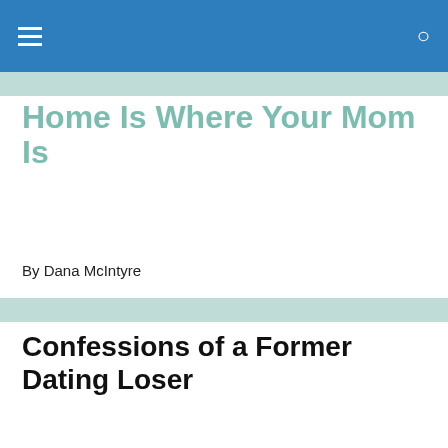Home Is Where Your Mom Is — navigation bar
Home Is Where Your Mom Is
By Dana McIntyre
Confessions of a Former Dating Loser
I met my husband three years ago on Match.com.  Many
Privacy & Cookies: This site uses cookies. By continuing to use this website, you agree to their use.
To find out more, including how to control cookies, see here: Cookie Policy
Close and accept